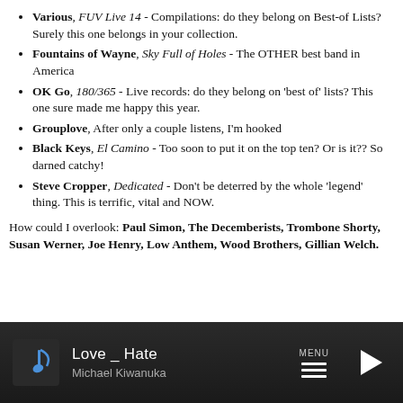Various, FUV Live 14 - Compilations: do they belong on Best-of Lists? Surely this one belongs in your collection.
Fountains of Wayne, Sky Full of Holes - The OTHER best band in America
OK Go, 180/365 - Live records: do they belong on 'best of' lists? This one sure made me happy this year.
Grouplove, After only a couple listens, I'm hooked
Black Keys, El Camino - Too soon to put it on the top ten? Or is it?? So darned catchy!
Steve Cropper, Dedicated - Don't be deterred by the whole 'legend' thing. This is terrific, vital and NOW.
How could I overlook: Paul Simon, The Decemberists, Trombone Shorty, Susan Werner, Joe Henry, Low Anthem, Wood Brothers, Gillian Welch.
[Figure (other): Media player bar showing music note icon, track title 'Love _ Hate', artist 'Michael Kiwanuka', MENU hamburger icon, and play button on dark background]